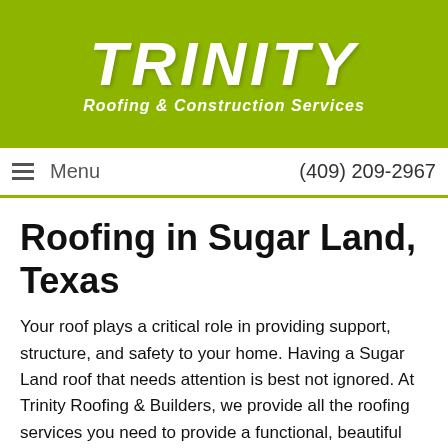[Figure (logo): Trinity Roofing & Construction Services logo in white text on yellow-green background]
Menu   (409) 209-2967
Roofing in Sugar Land, Texas
Your roof plays a critical role in providing support, structure, and safety to your home. Having a Sugar Land roof that needs attention is best not ignored. At Trinity Roofing & Builders, we provide all the roofing services you need to provide a functional, beautiful roof for your home. Our Sugar Land roofers, will provide you with plenty of roofing options to not only make your home safe but make it more attractive as well and bring added equity to your home. Find out more about working with Trinity